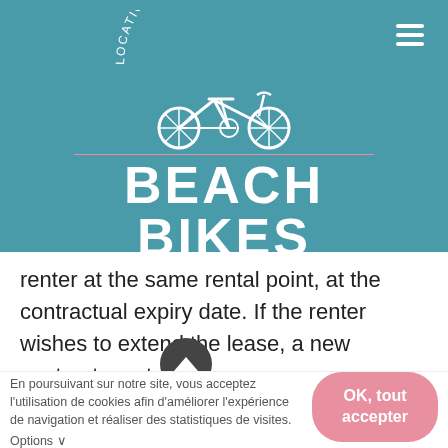[Figure (logo): Beach Bikes Ile de Ré logo on teal background with bicycle illustration and arched text 'LOCATION - VENTE DE VÉLO']
renter at the same rental point, at the contractual expiry date. If the renter wishes to extend the lease, a new contract must
En poursuivant sur notre site, vous acceptez l'utilisation de cookies afin d'améliorer l'expérience de navigation et réaliser des statistiques de visites.
Options ∨
OK, tout accepter